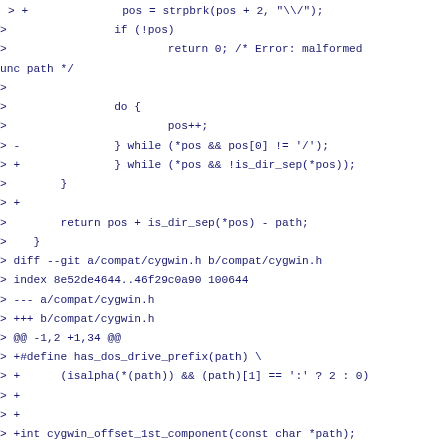> +              pos = strpbrk(pos + 2, "\\/");
>                if (!pos)
>                        return 0; /* Error: malformed unc path */
>
>                do {
>                        pos++;
> -              } while (*pos && pos[0] != '/');
> +              } while (*pos && !is_dir_sep(*pos));
>        }
> +
>        return pos + is_dir_sep(*pos) - path;
>    }
> diff --git a/compat/cygwin.h b/compat/cygwin.h
> index 8e52de4644..46f29c0a90 100644
> --- a/compat/cygwin.h
> +++ b/compat/cygwin.h
> @@ -1,2 +1,34 @@
> +#define has_dos_drive_prefix(path) \
> +      (isalpha(*(path)) && (path)[1] == ':' ? 2 : 0)
> +
> +
> +int cygwin_offset_1st_component(const char *path);
> +#define offset_1st_component cygwin_offset_1st_component
> +
> +
> +#define has_dos_drive_prefix(path) \
> +      (isalpha(*(path)) && (path)[1] == ':' ? 2 : 0)
> +int cygwin_skip_dos_drive_prefix(char **path);